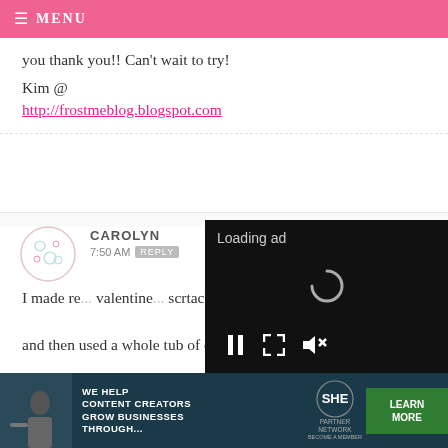MENU
you thank you!! Can’t wait to try!
Kim @
http://frostmeblog.blogspot.com
CAROLYN
7:50 AM  REPLY
I made re... valentine... scrtach t... and then used a whole tub of cream
[Figure (screenshot): Loading ad overlay with spinner and video controls (pause, expand, mute) on black background]
[Figure (infographic): Banner advertisement: SHE Partner Network - We help content creators grow businesses through... LEARN MORE button]